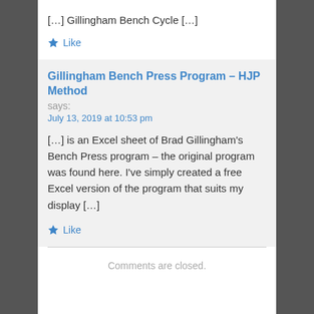[…] Gillingham Bench Cycle […]
Like
Gillingham Bench Press Program – HJP Method
says:
July 13, 2019 at 10:53 pm
[…] is an Excel sheet of Brad Gillingham's Bench Press program – the original program was found here. I've simply created a free Excel version of the program that suits my display […]
Like
Comments are closed.